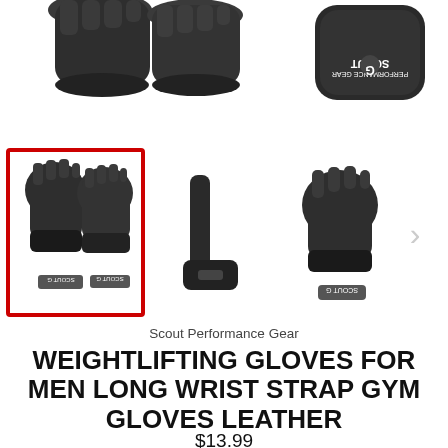[Figure (photo): Top section showing two weightlifting gloves from above (left) and a Scout Performance Gear case/bag (right, upside-down logo visible)]
[Figure (photo): Thumbnail row: selected thumbnail with red border showing pair of weightlifting gloves, center thumbnail showing wrist strap, right thumbnail showing single glove, and a right-arrow navigation chevron]
Scout Performance Gear
WEIGHTLIFTING GLOVES FOR MEN LONG WRIST STRAP GYM GLOVES LEATHER
$13.99